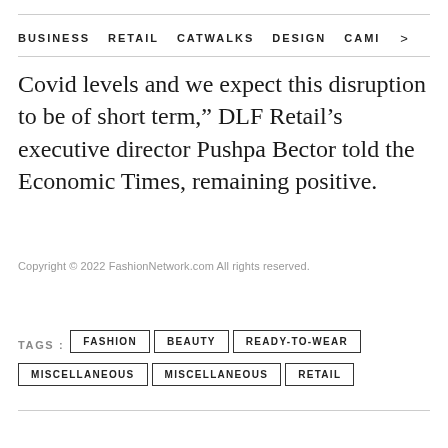BUSINESS   RETAIL   CATWALKS   DESIGN   CAMI  >
Covid levels and we expect this disruption to be of short term,” DLF Retail’s executive director Pushpa Bector told the Economic Times, remaining positive.
Copyright © 2022 FashionNetwork.com All rights reserved.
TAGS : FASHION   BEAUTY   READY-TO-WEAR   MISCELLANEOUS   MISCELLANEOUS   RETAIL